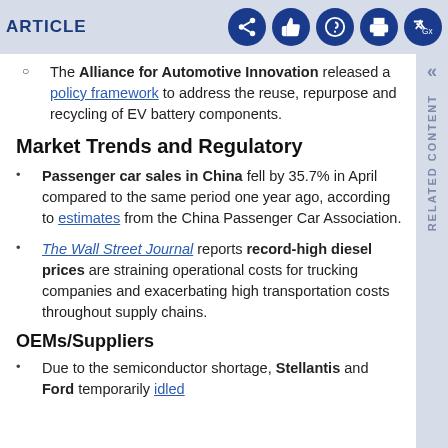ARTICLE
The Alliance for Automotive Innovation released a policy framework to address the reuse, repurpose and recycling of EV battery components.
Market Trends and Regulatory
Passenger car sales in China fell by 35.7% in April compared to the same period one year ago, according to estimates from the China Passenger Car Association.
The Wall Street Journal reports record-high diesel prices are straining operational costs for trucking companies and exacerbating high transportation costs throughout supply chains.
OEMs/Suppliers
Due to the semiconductor shortage, Stellantis and Ford temporarily idled